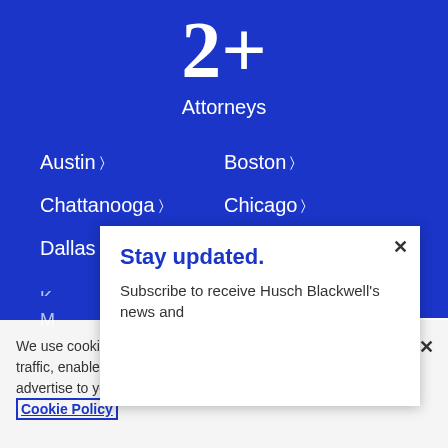2+
Attorneys
Austin ›
Boston ›
Chattanooga ›
Chicago ›
Dallas ›
Denver ›
Houston ›
Jefferson City ›
K...
M...
Stay updated.
Subscribe to receive Husch Blackwell's news and
We use cookies to optimize site functionality, analyze our traffic, enable social media functionality and, in some cases, advertise to you through third parties. To learn more, view our Cookie Policy